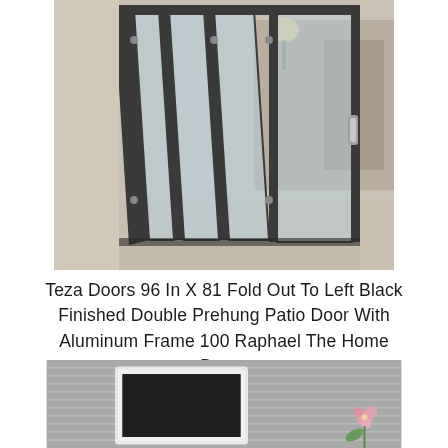[Figure (photo): Bifold glass patio door with dark aluminum frames, folded open accordion-style, revealing a neutral-toned interior room]
Teza Doors 96 In X 81 Fold Out To Left Black Finished Double Prehung Patio Door With Aluminum Frame 100 Raphael The Home Depot
[Figure (photo): Exterior view of a house with gray horizontal siding, a white-framed window, and a pink flower visible on the right]